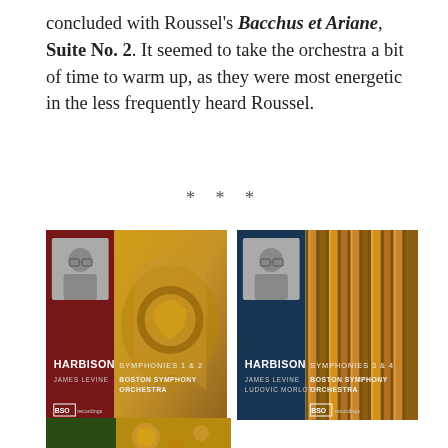concluded with Roussel's Bacchus et Ariane, Suite No. 2. It seemed to take the orchestra a bit of time to warm up, as they were most energetic in the less frequently heard Roussel.
* * *
[Figure (photo): Two album covers side by side: (1) Harbison Symphonies 1 & 2, James Levine, Boston Symphony Orchestra — red and gold cover with conductor photo; (2) Harbison Symphonies 3 & 4, James Levine / Ludovic Morlot, Boston Symphony Orchestra — blue and brown cover with conductor photo and organ pipes.]
[Figure (photo): Partial bottom album cover showing green and gold color scheme.]